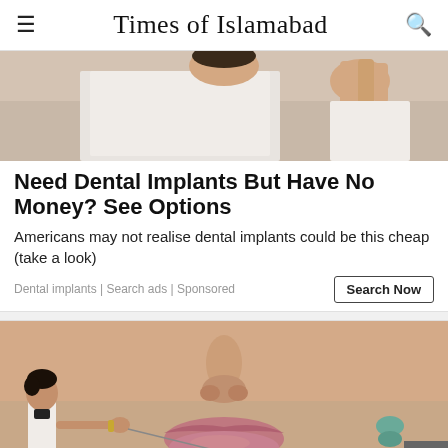Times of Islamabad
[Figure (photo): Close-up photo of a person in a white coat or shirt, with hand raised near face, dental/medical context]
Need Dental Implants But Have No Money? See Options
Americans may not realise dental implants could be this cheap (take a look)
Dental implants | Search ads | Sponsored
[Figure (photo): Close-up photo of a woman's face focusing on lips, with a small figure of a man in a white coat examining near her chin]